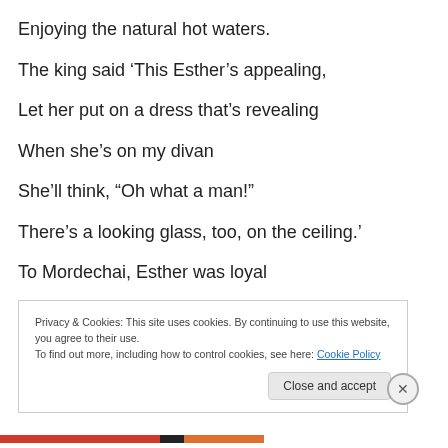Enjoying the natural hot waters.
The king said ‘This Esther’s appealing,
Let her put on a dress that’s revealing
When she’s on my divan
She’ll think, “Oh what a man!”
There’s a looking glass, too, on the ceiling.’
To Mordechai, Esther was loyal
Privacy & Cookies: This site uses cookies. By continuing to use this website, you agree to their use.
To find out more, including how to control cookies, see here: Cookie Policy
Close and accept